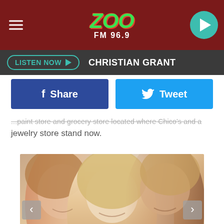ZOO FM 96.9
LISTEN NOW ▶  CHRISTIAN GRANT
[Figure (other): Facebook Share button (dark blue) and Twitter Tweet button (light blue) side by side]
...paint store and grocery store located where Chico's and a jewelry store stand now.
[Figure (photo): Photo of three smiling people: Nicole Kidman on the left, Olivia Newton-John in the center, Keith Urban on the right, with navigation arrows on left and right sides]
Keith Urban + Nicole Kidman Remember Olivia Newton-John